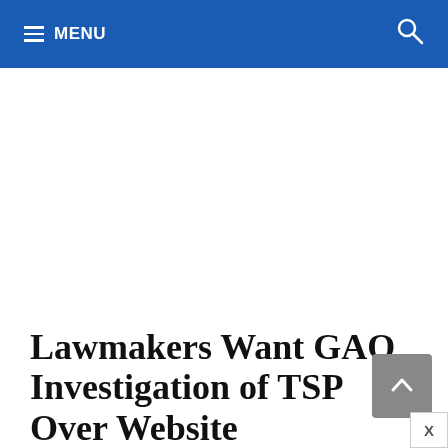≡ MENU
Lawmakers Want GAO Investigation of TSP Over Website